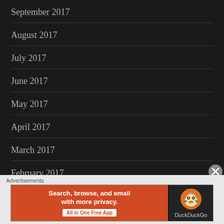September 2017
August 2017
July 2017
June 2017
May 2017
April 2017
March 2017
February 2017
January 2017
Advertisements
[Figure (infographic): DuckDuckGo advertisement banner: orange left panel with text 'Search, browse, and email with more privacy. All in One Free App' and dark right panel with DuckDuckGo duck logo and brand name]